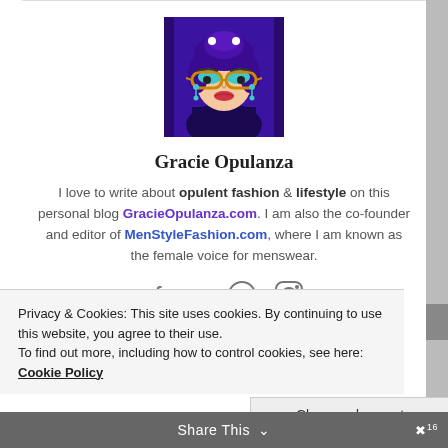[Figure (illustration): Illustrated avatar of Gracie Opulanza: a stylized woman with purple hair, large round glasses, teal eyeshadow, earrings, on a dark purple background]
Gracie Opulanza
I love to write about opulent fashion & lifestyle on this personal blog GracieOpulanza.com. I am also the co-founder and editor of MenStyleFashion.com, where I am known as the female voice for menswear.
[Figure (infographic): Social media icons: Facebook, Twitter, WordPress, Instagram]
Privacy & Cookies: This site uses cookies. By continuing to use this website, you agree to their use.
To find out more, including how to control cookies, see here: Cookie Policy
Close and accept
Share This